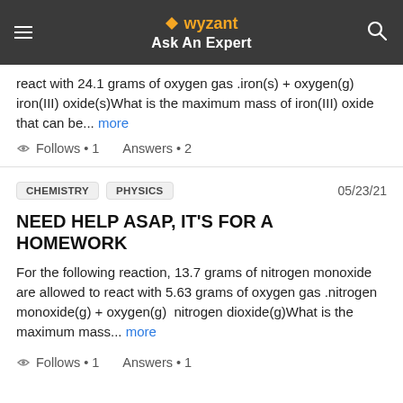wyzant Ask An Expert
react with 24.1 grams of oxygen gas .iron(s) + oxygen(g)  iron(III) oxide(s)What is the maximum mass of iron(III) oxide that can be... more
Follows • 1    Answers • 2
CHEMISTRY  PHYSICS  05/23/21
NEED HELP ASAP, IT'S FOR A HOMEWORK
For the following reaction, 13.7 grams of nitrogen monoxide are allowed to react with 5.63 grams of oxygen gas .nitrogen monoxide(g) + oxygen(g)  nitrogen dioxide(g)What is the maximum mass... more
Follows • 1    Answers • 1